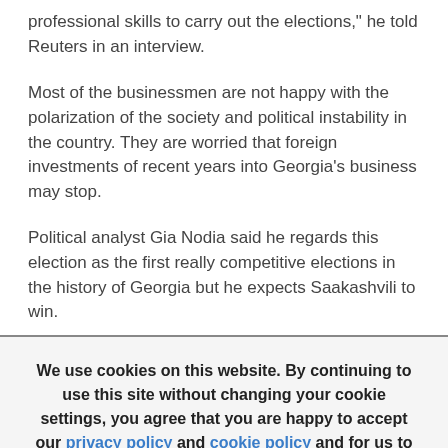professional skills to carry out the elections," he told Reuters in an interview.
Most of the businessmen are not happy with the polarization of the society and political instability in the country. They are worried that foreign investments of recent years into Georgia's business may stop.
Political analyst Gia Nodia said he regards this election as the first really competitive elections in the history of Georgia but he expects Saakashvili to win.
We use cookies on this website. By continuing to use this site without changing your cookie settings, you agree that you are happy to accept our privacy policy and cookie policy and for us to access our cookies on your device.
Accept
They will accept these and run the elections, and then they report to their Most...